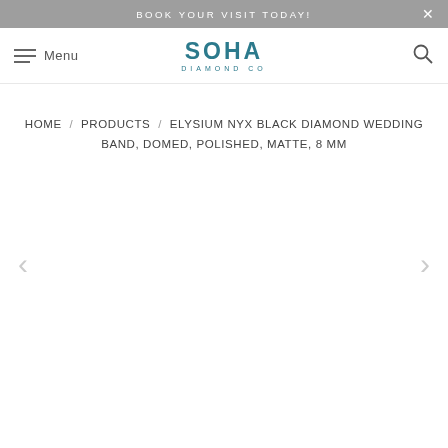BOOK YOUR VISIT TODAY!
[Figure (logo): SOHA Diamond Co logo with hamburger menu and search icon navigation bar]
HOME / PRODUCTS / ELYSIUM NYX BLACK DIAMOND WEDDING BAND, DOMED, POLISHED, MATTE, 8 MM
[Figure (other): Product image area with left and right navigation arrows, image not loaded]